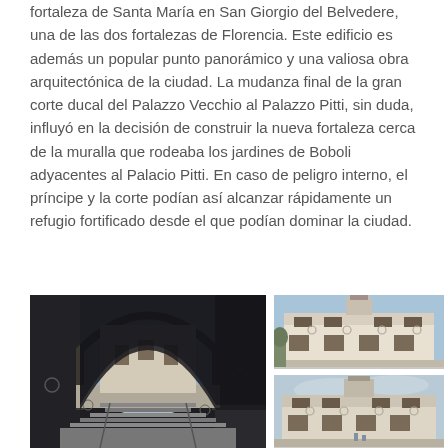fortaleza de Santa María en San Giorgio del Belvedere, una de las dos fortalezas de Florencia. Este edificio es además un popular punto panorámico y una valiosa obra arquitectónica de la ciudad. La mudanza final de la gran corte ducal del Palazzo Vecchio al Palazzo Pitti, sin duda, influyó en la decisión de construir la nueva fortaleza cerca de la muralla que rodeaba los jardines de Boboli adyacentes al Palacio Pitti. En caso de peligro interno, el príncipe y la corte podían así alcanzar rápidamente un refugio fortificado desde el que podían dominar la ciudad.
[Figure (photo): Left: archway tunnel view of fortress interior with stairs. Top-right: exterior facade of Belvedere fortress building with tower. Bottom-right: another angle of the fortress exterior facade.]